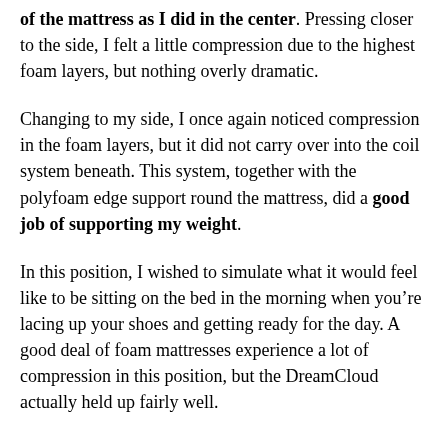of the mattress as I did in the center. Pressing closer to the side, I felt a little compression due to the highest foam layers, but nothing overly dramatic.
Changing to my side, I once again noticed compression in the foam layers, but it did not carry over into the coil system beneath. This system, together with the polyfoam edge support round the mattress, did a good job of supporting my weight.
In this position, I wished to simulate what it would feel like to be sitting on the bed in the morning when you’re lacing up your shoes and getting ready for the day. A good deal of foam mattresses experience a lot of compression in this position, but the DreamCloud actually held up fairly well.